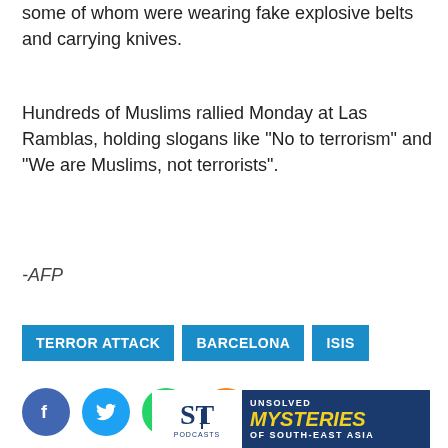some of whom were wearing fake explosive belts and carrying knives.
Hundreds of Muslims rallied Monday at Las Ramblas, holding slogans like “No to terrorism” and “We are Muslims, not terrorists”.
-AFP
TERROR ATTACK
BARCELONA
ISIS
[Figure (other): Social media sharing icons: Facebook, Twitter, WhatsApp, Email]
[Figure (other): ST Podcasts banner advertisement for Unsolved Mysteries of South-East Asia podcast]